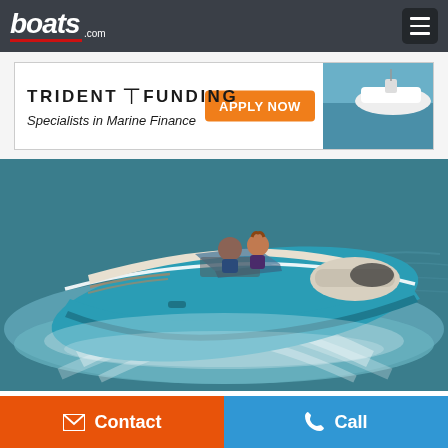boats.com
[Figure (screenshot): Trident Funding advertisement banner — 'TRIDENT F FUNDING — Specialists in Marine Finance — APPLY NOW' with a photo of a white speedboat]
[Figure (photo): Aerial photo of a teal/turquoise Sea Ray SPX 190 speedboat on the water with two passengers, creating a wake]
Sea Ray SPX 190 2023
Seabrook, Texas, United States
Contact
Call